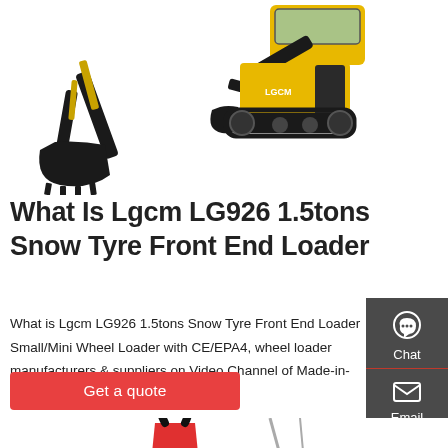[Figure (photo): Two construction machines: on the left a wheel loader bucket arm, on the right a full yellow and black tracked excavator. Both shown on white background.]
What Is Lgcm LG926 1.5tons Snow Tyre Front End Loader
What is Lgcm LG926 1.5tons Snow Tyre Front End Loader Small/Mini Wheel Loader with CE/EPA4, wheel loader manufacturers & suppliers on Video Channel of Made-in-China.com.
[Figure (infographic): Dark grey sidebar with three contact icons: Chat (headset icon), Email (envelope icon), Contact (speech bubble icon). Each separated by a red horizontal line.]
Get a quote
[Figure (photo): Bottom partial image showing red and black hydraulic equipment or attachment parts on white background.]